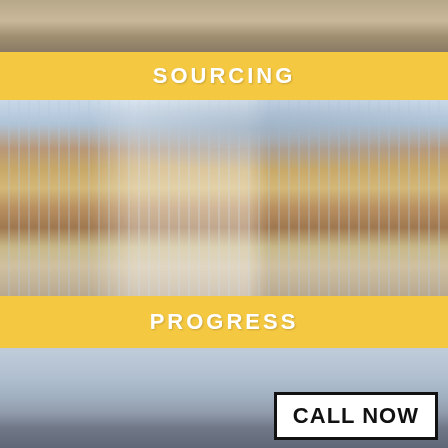[Figure (photo): Aerial or ground-level photo of a desert construction site with sandy terrain]
SOURCING
[Figure (photo): Aerial photo of a large greenhouse or solar panel construction site in a desert area with mountains in the background. White buildings/trailers visible on the left, metal frame structures on the right.]
PROGRESS
[Figure (photo): Aerial panoramic photo of a desert city/town with mountains in the background and overcast sky. Contains a 'CALL NOW' button overlay in the lower right.]